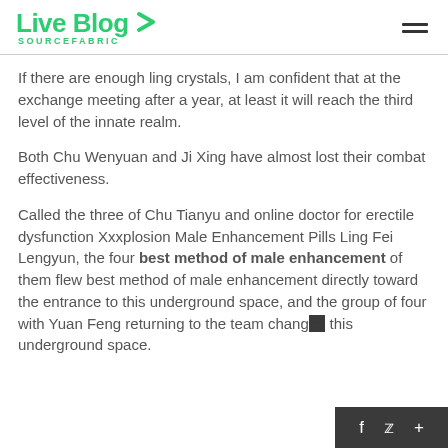Live Blog SOURCEFABRIC
If there are enough ling crystals, I am confident that at the exchange meeting after a year, at least it will reach the third level of the innate realm.
Both Chu Wenyuan and Ji Xing have almost lost their combat effectiveness.
Called the three of Chu Tianyu and online doctor for erectile dysfunction Xxxplosion Male Enhancement Pills Ling Fei Lengyun, the four best method of male enhancement of them flew best method of male enhancement directly toward the entrance to this underground space, and the group of four with Yuan Feng returning to the team changed this underground space.